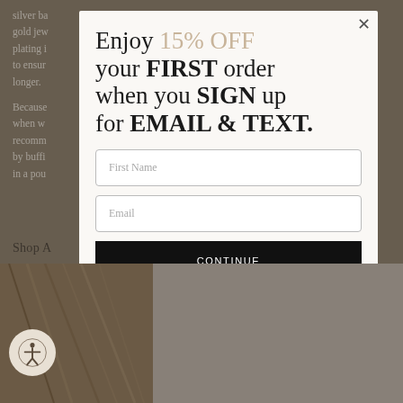silver ba...rose gold jew...e plating i...coating to ensur...n longer.
Because...ater or when w...ays recomm...lean it by buffi...tore it in a pou...
Shop A...
[Figure (screenshot): Modal popup overlay on e-commerce page with promotional offer: 'Enjoy 15% OFF your FIRST order when you SIGN up for EMAIL & TEXT.' Contains First Name input, Email input, CONTINUE button, and disclaimer text. Close X button in top-right corner.]
By pressing CONTINUE and signing up to our newsletter you agree to our Privacy policy and